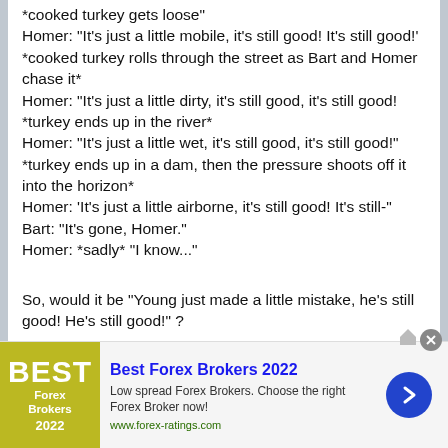*cooked turkey gets loose* Homer: "It's just a little mobile, it's still good! It's still good!' *cooked turkey rolls through the street as Bart and Homer chase it* Homer: "It's just a little dirty, it's still good, it's still good! *turkey ends up in the river* Homer: "It's just a little wet, it's still good, it's still good!" *turkey ends up in a dam, then the pressure shoots off it into the horizon* Homer: 'It's just a little airborne, it's still good! It's still-" Bart: "It's gone, Homer." Homer: *sadly* "I know..."
So, would it be "Young just made a little mistake, he's still good! He's still good!" ?
Edit: Gonna add this question; Since Young basically got the ship taken over and people about to die... to all the people who disagree with the subject of this thread, exactly what would Young have to do for you to go "Yeah, he needs to be removed"? What more could he
[Figure (other): Advertisement banner for Best Forex Brokers 2022. Shows olive/yellow logo on left with 'BEST Forex Brokers 2022', blue bold title 'Best Forex Brokers 2022', text 'Low spread Forex Brokers. Choose the right Forex Broker now!', url 'www.forex-ratings.com', and blue circular arrow button on right.]